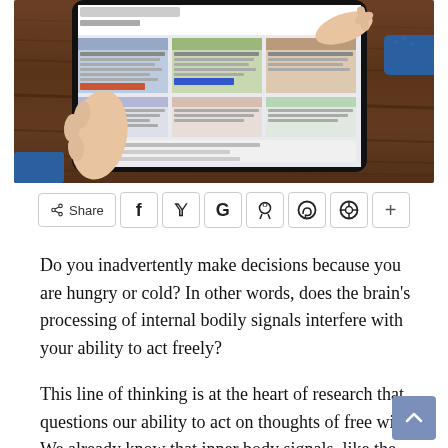[Figure (photo): Person holding a tablet device displaying a news website, touching the screen with one finger, on a wooden table surface. Person is wearing a dark blue dotted shirt sleeve visible.]
[Figure (infographic): Social share bar with Share button and icons for Facebook, Twitter, Google+, Reddit, WhatsApp, Pinterest, and a plus button.]
Do you inadvertently make decisions because you are hungry or cold? In other words, does the brain's processing of internal bodily signals interfere with your ability to act freely?
This line of thinking is at the heart of research that questions our ability to act on thoughts of free will. We already know that inner body signals, like the heartbeat, affect our mental states, can be used to